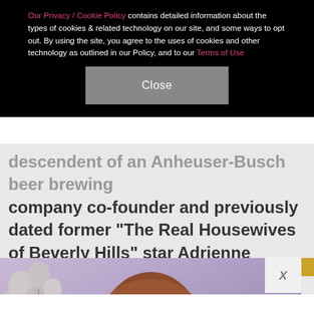Our Privacy / Cookie Policy contains detailed information about the types of cookies & related technology on our site, and some ways to opt out. By using the site, you agree to the uses of cookies and other technology as outlined in our Policy, and to our Terms of Use
Close
descendent of an Anheuser-Busch beer brewing company co-founder and previously dated former "The Real Housewives of Beverly Hills" star Adrienne Maloof.
[Figure (photo): Photo of a person with reddish-brown hair against a purple/lavender background with flowers on the left side. A gold accent and X close button are visible.]